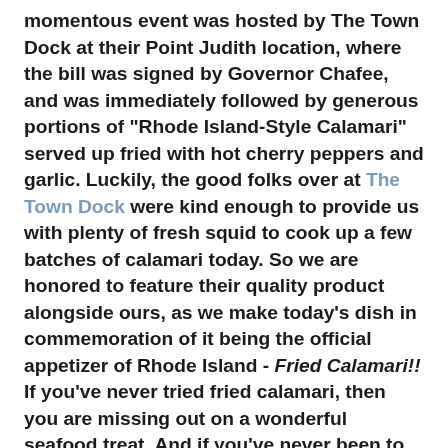momentous event was hosted by The Town Dock at their Point Judith location, where the bill was signed by Governor Chafee, and was immediately followed by generous portions of "Rhode Island-Style Calamari" served up fried with hot cherry peppers and garlic. Luckily, the good folks over at The Town Dock were kind enough to provide us with plenty of fresh squid to cook up a few batches of calamari today. So we are honored to feature their quality product alongside ours, as we make today's dish in commemoration of it being the official appetizer of Rhode Island - Fried Calamari!! If you've never tried fried calamari, then you are missing out on a wonderful seafood treat. And if you've never been to Rhode Island - or haven't visited our fabulous little state in awhile - then a taste of amazingly